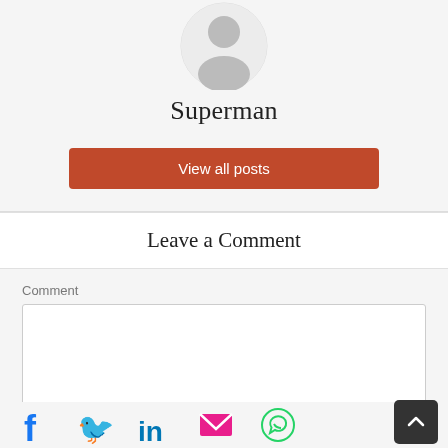[Figure (illustration): Circular avatar/profile picture placeholder with a grey silhouette of a person on white background]
Superman
[Figure (illustration): Red/orange button labeled 'View all posts']
Leave a Comment
Comment
[Figure (illustration): Comment text area input box, empty]
[Figure (infographic): Social sharing icons row: Facebook (blue f), Twitter (blue bird), LinkedIn (in), Email (pink envelope), WhatsApp (green phone), plus a dark back-to-top button]